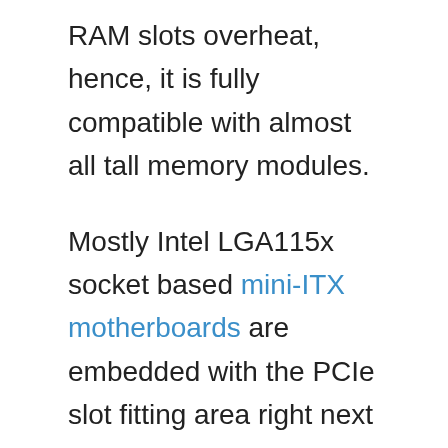RAM slots overheat, hence, it is fully compatible with almost all tall memory modules.
Mostly Intel LGA115x socket based mini-ITX motherboards are embedded with the PCIe slot fitting area right next to the provided 95x95mm socket zone.
Larger CPU coolers that exceed this zone are more likely to block the PCIe slot and make the area congested. So, the 95x95xmm footprint NH-L9i provides complete